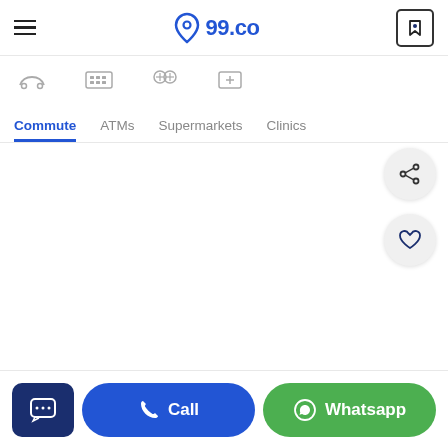99.co — property listing app header with hamburger menu, logo, and bookmark icon
[Figure (screenshot): Navigation icon row with commute, ATM, supermarket, clinics icons]
Commute (active tab, blue underline)
ATMs
Supermarkets
Clinics
[Figure (other): Share button (circular grey FAB with share icon)]
[Figure (other): Favourite/heart button (circular grey FAB with heart icon)]
Chat | Call | Whatsapp — bottom action bar buttons